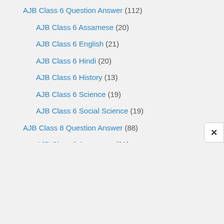AJB Class 6 Question Answer (112)
AJB Class 6 Assamese (20)
AJB Class 6 English (21)
AJB Class 6 Hindi (20)
AJB Class 6 History (13)
AJB Class 6 Science (19)
AJB Class 6 Social Science (19)
AJB Class 8 Question Answer (88)
AJB Class 8 Assamese (21)
AJB Class 8 English (17)